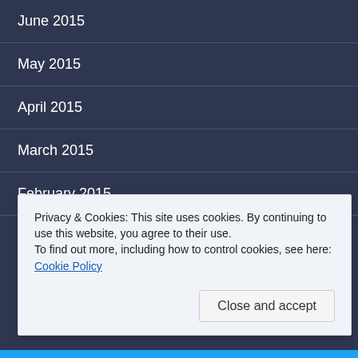June 2015
May 2015
April 2015
March 2015
February 2015
CATEGORIES
Select Category
Privacy & Cookies: This site uses cookies. By continuing to use this website, you agree to their use. To find out more, including how to control cookies, see here: Cookie Policy
Close and accept